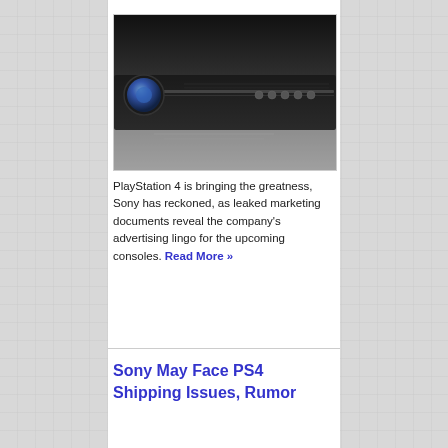[Figure (photo): Black and white close-up photo of a PlayStation console showing the power button (glowing blue sphere) and disc slot with control buttons on the front panel]
PlayStation 4 is bringing the greatness, Sony has reckoned, as leaked marketing documents reveal the company's advertising lingo for the upcoming consoles. Read More »
Sony May Face PS4 Shipping Issues, Rumor